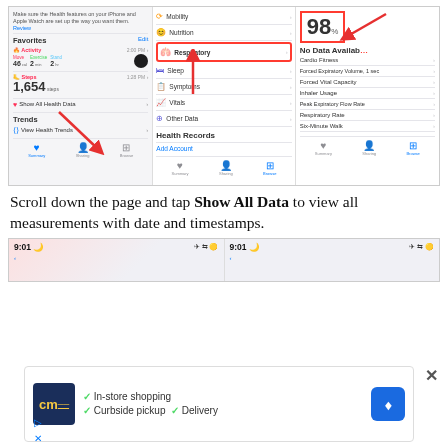[Figure (screenshot): Three iPhone Health app screenshots side by side showing: 1) Favorites panel with Activity, Steps, Show All Health Data, Trends sections with red arrows pointing to elements; 2) Health menu with Mobility, Nutrition, Respiratory (highlighted in red box), Sleep, Symptoms, Vitals, Other Data, Health Records sections with red arrow; 3) Respiratory data panel showing 98, No Data Available, with list items: Cardio Fitness, Forced Expiratory Volume 1 sec, Forced Vital Capacity, Inhaler Usage, Peak Expiratory Flow Rate, Respiratory Rate, Six-Minute Walk]
Scroll down the page and tap Show All Data to view all measurements with date and timestamps.
[Figure (screenshot): Two iPhone status bars showing 9:01 with moon icon, airplane mode, wifi, and battery icons]
[Figure (other): Advertisement overlay with cm logo, checkmarks for In-store shopping, Curbside pickup, Delivery, and blue diamond navigation icon]